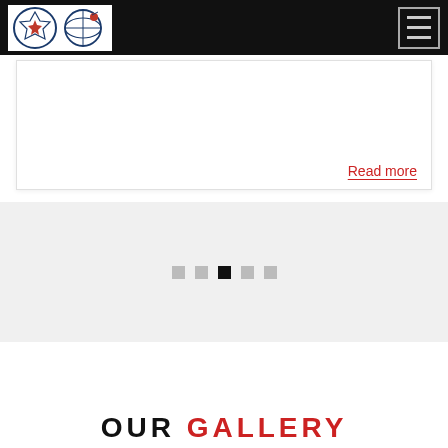[Figure (logo): Two circular organization logos side by side on a black navigation bar — left logo features a maple leaf and shield design (DIRT), right logo features a globe/satellite design — both on white background]
[Figure (other): Hamburger menu button (three horizontal lines) with light border on black navigation bar, top-right corner]
Read more
[Figure (other): Pagination dots row: five small squares, the middle (third) one is black/active, the others are gray]
OUR GALLERY